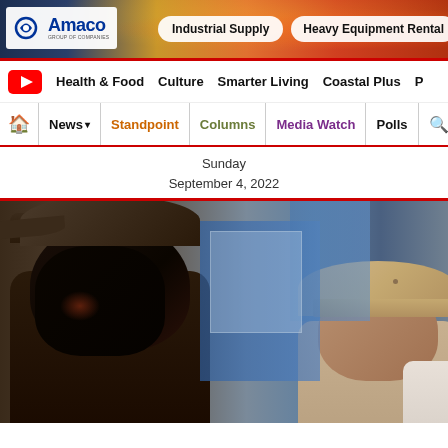[Figure (other): Amaco Group of Companies advertisement banner with logo, Industrial Supply and Heavy Equipment Rental buttons, with decorative background]
Health & Food   Culture   Smarter Living   Coastal Plus   P
News ▾  |  Standpoint  |  Columns  |  Media Watch  |  Polls  | 🔍
Sunday
September 4, 2022
[Figure (photo): Two men wearing hats photographed from behind/side in what appears to be an indoor setting with blue background elements visible]